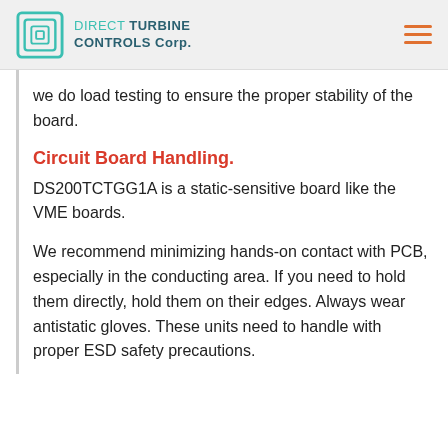DIRECT TURBINE CONTROLS Corp.
we do load testing to ensure the proper stability of the board.
Circuit Board Handling.
DS200TCTGG1A is a static-sensitive board like the VME boards.
We recommend minimizing hands-on contact with PCB, especially in the conducting area. If you need to hold them directly, hold them on their edges. Always wear antistatic gloves. These units need to handle with proper ESD safety precautions.